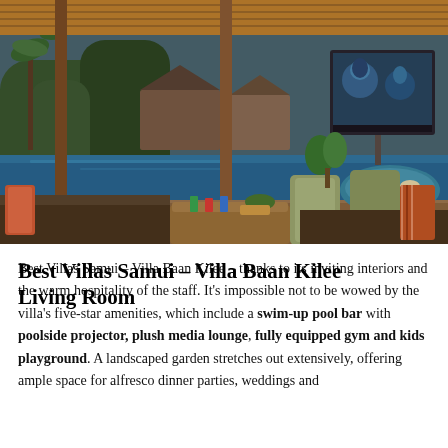[Figure (photo): Luxury villa in Koh Samui with open-air pavilion, large infinity pool, tropical garden, outdoor lounge seating with colorful cushions, wooden coffee table, and outdoor movie screen showing Avatar film. Warm evening lighting with wooden ceiling structure.]
Best Villas Samui – Villa Baan Kilee Living Room
Best Villas Samui – Villa Baan Kilee – thanks to its inviting interiors and the warm hospitality of the staff. It's impossible not to be wowed by the villa's five-star amenities, which include a swim-up pool bar with poolside projector, plush media lounge, fully equipped gym and kids playground. A landscaped garden stretches out extensively, offering ample space for alfresco dinner parties, weddings and